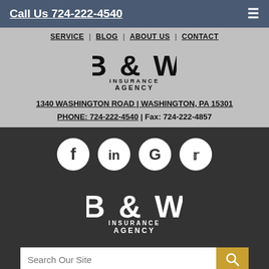Call Us 724-222-4540
SERVICE | BLOG | ABOUT US | CONTACT
[Figure (logo): B & W Insurance Agency logo (top, dark text on grey background)]
1340 WASHINGTON ROAD | WASHINGTON, PA 15301
PHONE: 724-222-4540 | Fax: 724-222-4857
[Figure (logo): Social media icons: Facebook, LinkedIn, Google, Twitter - white circles on dark background]
[Figure (logo): B & W Insurance Agency logo (bottom, white text on dark background)]
Search Our Site
Powered by Insurance Website Builder